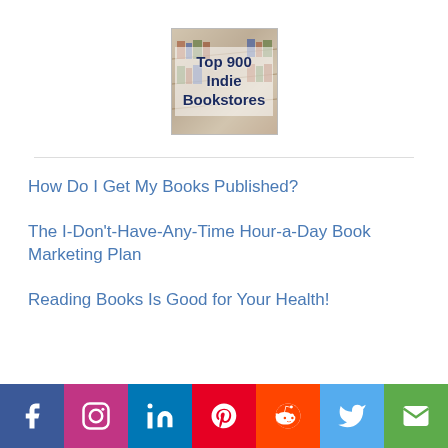[Figure (illustration): Book cover image with text 'Top 900 Indie Bookstores' on a library/bookstore background]
How Do I Get My Books Published?
The I-Don't-Have-Any-Time Hour-a-Day Book Marketing Plan
Reading Books Is Good for Your Health!
[Figure (infographic): Social media sharing bar with icons for Facebook, Instagram, LinkedIn, Pinterest, Reddit, Twitter, and Email]